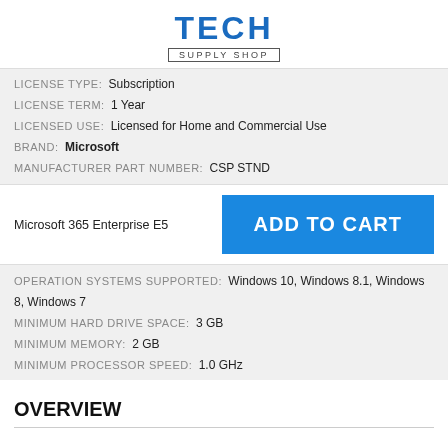[Figure (logo): Tech Supply Shop logo with TECH in bold blue and SUPPLY SHOP in a bordered box below]
LICENSE TYPE: Subscription
LICENSE TERM: 1 Year
LICENSED USE: Licensed for Home and Commercial Use
BRAND: Microsoft
MANUFACTURER PART NUMBER: CSP STND
Microsoft 365 Enterprise E5
ADD TO CART
OPERATION SYSTEMS SUPPORTED: Windows 10, Windows 8.1, Windows 8, Windows 7
MINIMUM HARD DRIVE SPACE: 3 GB
MINIMUM MEMORY: 2 GB
MINIMUM PROCESSOR SPEED: 1.0 GHz
OVERVIEW